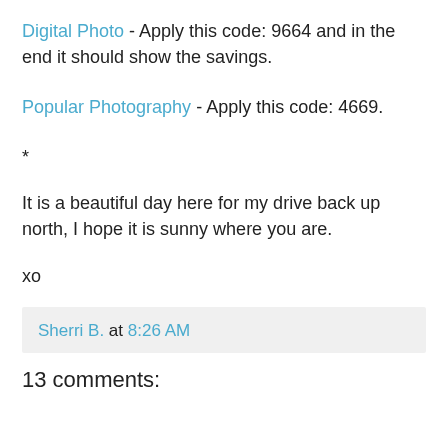Digital Photo - Apply this code: 9664 and in the end it should show the savings.
Popular Photography - Apply this code: 4669.
*
It is a beautiful day here for my drive back up north, I hope it is sunny where you are.
xo
Sherri B. at 8:26 AM
13 comments: